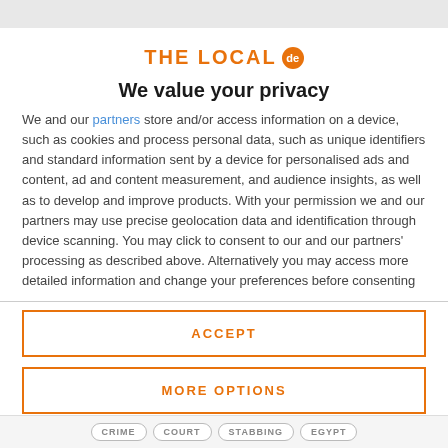[Figure (logo): The Local .de logo in orange with circular badge]
We value your privacy
We and our partners store and/or access information on a device, such as cookies and process personal data, such as unique identifiers and standard information sent by a device for personalised ads and content, ad and content measurement, and audience insights, as well as to develop and improve products. With your permission we and our partners may use precise geolocation data and identification through device scanning. You may click to consent to our and our partners' processing as described above. Alternatively you may access more detailed information and change your preferences before consenting
ACCEPT
MORE OPTIONS
CRIME  COURT  STABBING  EGYPT